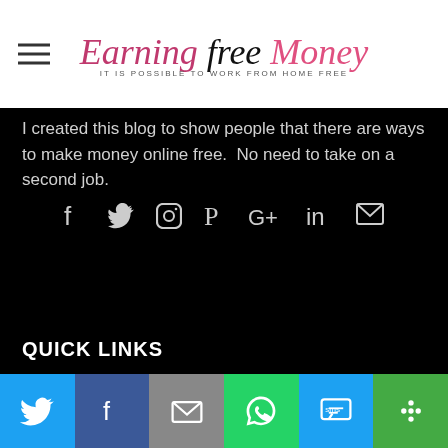Earning Free Money — IT IS POSSIBLE TO WORK FROM HOME FREE
I created this blog to show people that there are ways to make money online free.  No need to take on a second job.
[Figure (infographic): Social media icons row: Facebook, Twitter, Instagram, Pinterest, Google+, LinkedIn, Email]
Read More
QUICK LINKS
Work From Home
Blog
Paid Product Testing
Freebies
Blogging
Helpful Ti…
[Figure (infographic): Share bar with Twitter, Facebook, Email, WhatsApp, SMS, More buttons]